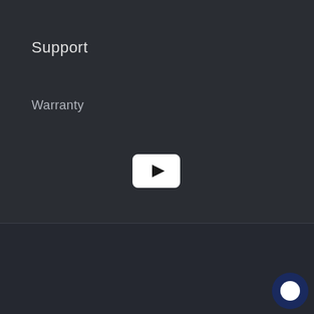Support
Warranty
[Figure (other): YouTube play button icon (white rounded rectangle with black play triangle)]
[Figure (logo): PayPal logo on white background]
© 2022, Benazcap  Powered by Shopify
[Figure (other): Chat bubble / support widget button in dark blue circle]